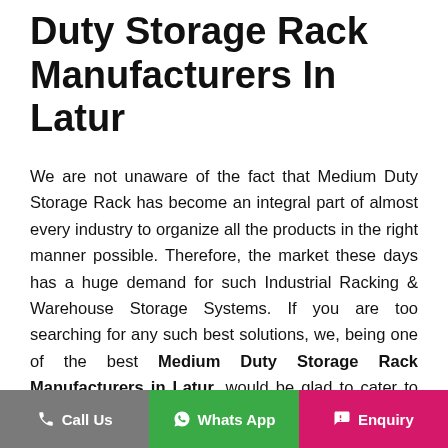Duty Storage Rack Manufacturers In Latur
We are not unaware of the fact that Medium Duty Storage Rack has become an integral part of almost every industry to organize all the products in the right manner possible. Therefore, the market these days has a huge demand for such Industrial Racking & Warehouse Storage Systems. If you are too searching for any such best solutions, we, being one of the best Medium Duty Storage Rack Manufacturers in Latur, would be glad to cater to your distinct demands.
These Racks are suitable for a variety of applications and available in different sizes, shapes, designs and finishes. From handling load, managing products, de-cluttering the facility to ensure safety and optimum utilization of space, this Medium Duty Storage Rack can do wonders business as compare in the
Call Us   Whats App   Enquiry